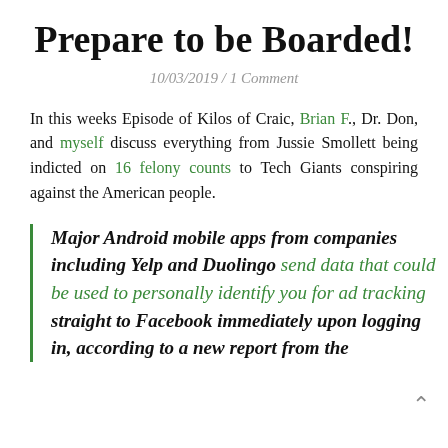Prepare to be Boarded!
10/03/2019 / 1 Comment
In this weeks Episode of Kilos of Craic, Brian F., Dr. Don, and myself discuss everything from Jussie Smollett being indicted on 16 felony counts to Tech Giants conspiring against the American people.
Major Android mobile apps from companies including Yelp and Duolingo send data that could be used to personally identify you for ad tracking straight to Facebook immediately upon logging in, according to a new report from the...